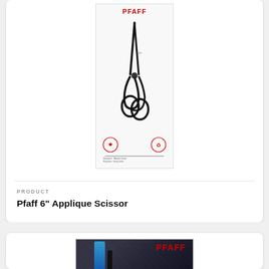[Figure (photo): PFAFF branded 6 inch Applique Scissor product in white packaging showing black scissors with red PFAFF logo at top]
PRODUCT
Pfaff 6" Applique Scissor
[Figure (photo): PFAFF branded scissors product in dark blue/black packaging with red PFAFF logo, partially visible at bottom of page]